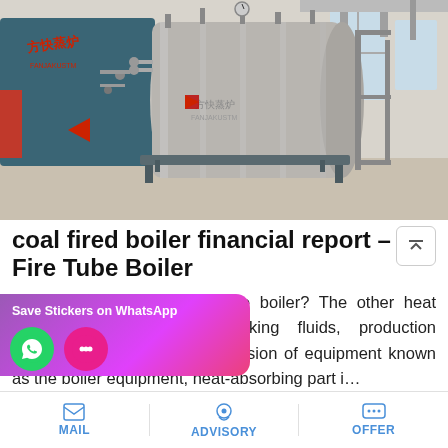[Figure (photo): Industrial coal-fired fire tube boiler in a building, large cylindrical gray boiler body with blue casing on left, pipes and fittings visible, Chinese text on boiler branding.]
coal fired boiler financial report – Fire Tube Boiler
Nov 29, 2016 · 1.What is the boiler? The other heat energy into the other working fluids, production parameters and quality of provision of equipment known as the boiler equipment, heat-absorbing part i…